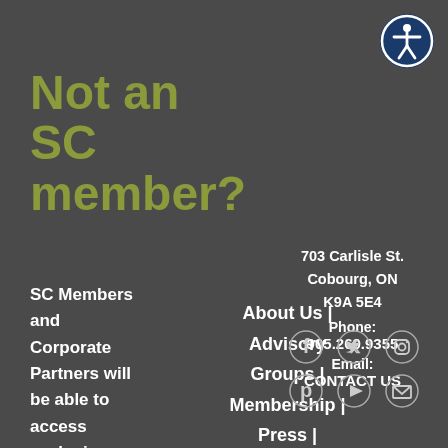[Figure (illustration): Accessibility icon — white figure with arms outstretched in a circle, dark blue background, top right corner]
Not an SC member?
SC Members and Corporate Partners will be able to access exclusive online content, subscribe to
About Us | Advisory Groups | Membership | Press | Contact
703 Carlisle St. Cobourg, ON K9A 5E4 Phone: 905.269.9355 Email: CONTACT US
[Figure (illustration): Social media icons: Facebook, Twitter, Instagram, Pinterest, YouTube, Email]